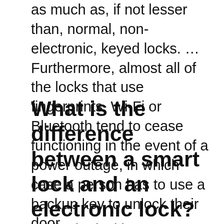as much as, if not lesser than, normal, non-electronic, keyed locks. … Furthermore, almost all of the locks that use fingerprints, Wi-Fi or Bluetooth tend to cease functioning in the event of a power outage, in which case a person has to use a backup key to unlock their door.
What is the difference between a smart lock and an electronic lock?
While the locking mechanism of a smart electronic lock works much like that of a traditional electronic lock, the upgraded technology does add some additional functionality over older electronic locks. For example, many smart locks can be